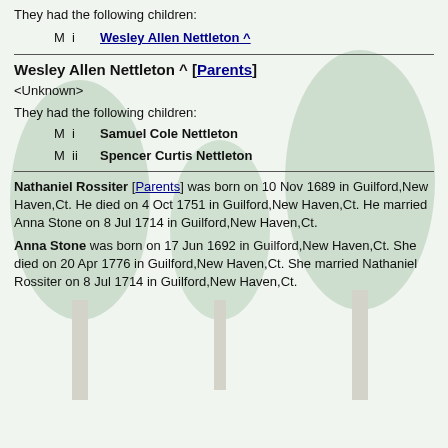They had the following children:
M  i  Wesley Allen Nettleton ^
Wesley Allen Nettleton ^ [Parents]
<Unknown>
They had the following children:
M  i  Samuel Cole Nettleton
M  ii  Spencer Curtis Nettleton
Nathaniel Rossiter [Parents] was born on 10 Nov 1689 in Guilford,New Haven,Ct. He died on 4 Oct 1751 in Guilford,New Haven,Ct. He married Anna Stone on 8 Jul 1714 in Guilford,New Haven,Ct.
Anna Stone was born on 17 Jun 1692 in Guilford,New Haven,Ct. She died on 20 Apr 1776 in Guilford,New Haven,Ct. She married Nathaniel Rossiter on 8 Jul 1714 in Guilford,New Haven,Ct.